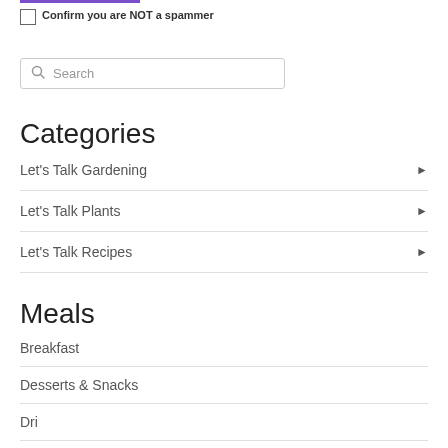Confirm you are NOT a spammer
Search
Categories
Let's Talk Gardening
Let's Talk Plants
Let's Talk Recipes
Meals
Breakfast
Desserts & Snacks
Drinks (partial)